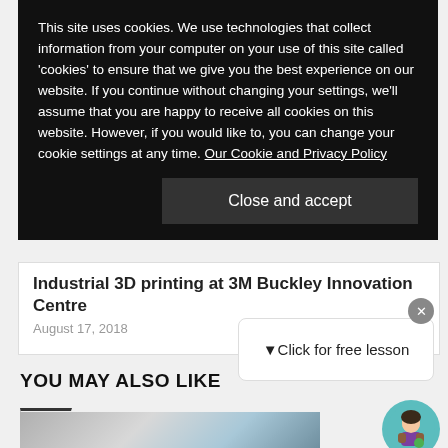This site uses cookies. We use technologies that collect information from your computer on your use of this site called ‘cookies’ to ensure that we give you the best experience on our website. If you continue without changing your settings, we’ll assume that you are happy to receive all cookies on this website. However, if you would like to, you can change your cookie settings at any time. Our Cookie and Privacy Policy
Close and accept
Industrial 3D printing at 3M Buckley Innovation Centre
August 17, 2018
YOU MAY ALSO LIKE
▶Click for free lesson
[Figure (photo): Photograph of 3D printed objects being handled, visible at the bottom of the page]